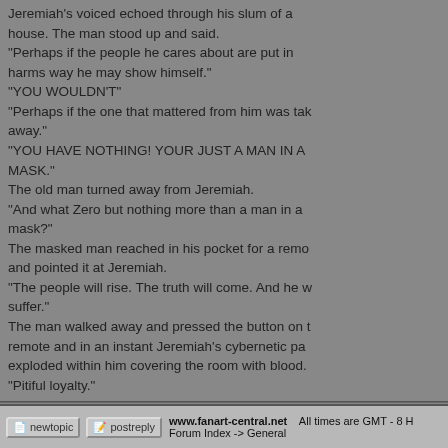Jeremiah's voiced echoed through his slum of a house. The man stood up and said. "Perhaps if the people he cares about are put in harms way he may show himself." "YOU WOULDN'T" "Perhaps if the one that mattered from him was taken away." "YOU HAVE NOTHING! YOUR JUST A MAN IN A MASK." The old man turned away from Jeremiah. "And what Zero but nothing more than a man in a mask?" The masked man reached in his pocket for a remote and pointed it at Jeremiah. "The people will rise. The truth will come. And he will suffer." The man walked away and pressed the button on the remote and in an instant Jeremiah's cybernetic parts exploded within him covering the room with blood. "Pitiful loyalty."
Back to top
[Figure (screenshot): Profile, PM, and WWW buttons]
Display posts from previous: All Posts Oldest First Go
[Figure (screenshot): New Topic and Post Reply buttons at bottom with www.fanart-central.net Forum Index -> General and All times are GMT - 8 H]